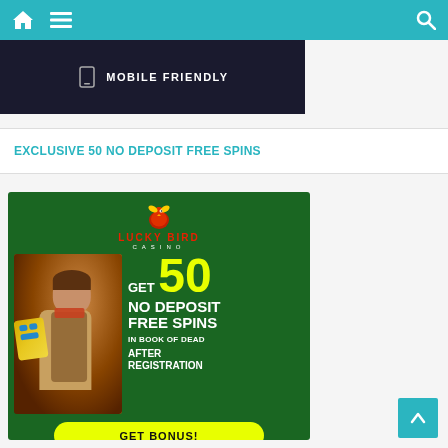Navigation bar with home, menu, and search icons
[Figure (screenshot): Partial mobile-friendly banner showing 'MOBILE FRIENDLY' text on dark background]
EXCLUSIVE 50 NO DEPOSIT FREE SPINS
[Figure (infographic): Lucky Bird Casino advertisement: GET 50 NO DEPOSIT FREE SPINS IN BOOK OF DEAD AFTER REGISTRATION with GET BONUS! button on green background with adventurer character]
[Figure (other): Back to top button (teal arrow pointing up)]